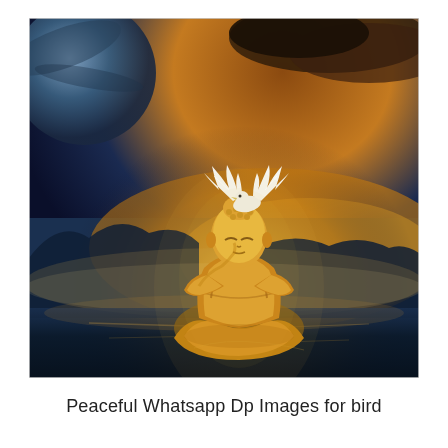[Figure (illustration): A golden Buddha statue in a meditative pose seated in water, resting its head on folded hands/knees, with a white dove/bird with spread wings perched on its head. The background shows a dramatic cosmic/fantasy landscape with a large planet or moon rising on the left, dark blue sky with clouds in the upper portion, and a golden-orange sunset glow over misty mountains and reflective water.]
Peaceful Whatsapp Dp Images for bird